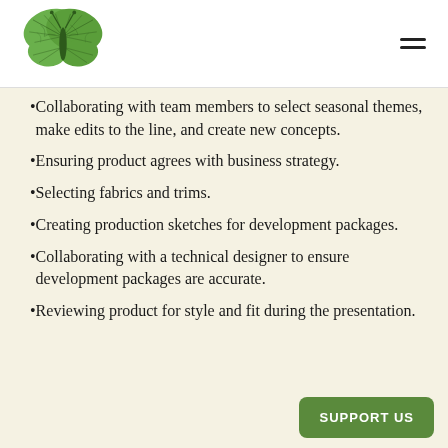Collaborating with team members to select seasonal themes, make edits to the line, and create new concepts.
Ensuring product agrees with business strategy.
Selecting fabrics and trims.
Creating production sketches for development packages.
Collaborating with a technical designer to ensure development packages are accurate.
Reviewing product for style and fit during the presentation.